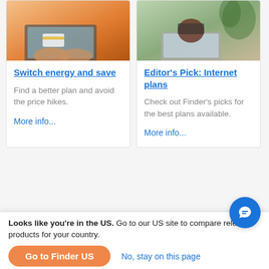[Figure (photo): Hands typing on laptop with credit card, warm orange-lit background]
Switch energy and save
Find a better plan and avoid the price hikes.
More info...
[Figure (photo): Person hiding behind laptop screen, indoor plant in background]
Editor's Pick: Internet plans
Check out Finder's picks for the best plans available.
More info...
[Figure (photo): Bright living room with bookshelf]
[Figure (photo): Dark car interior with device screen]
Looks like you're in the US. Go to our US site to compare relevant products for your country.
Go to Finder US
No, stay on this page